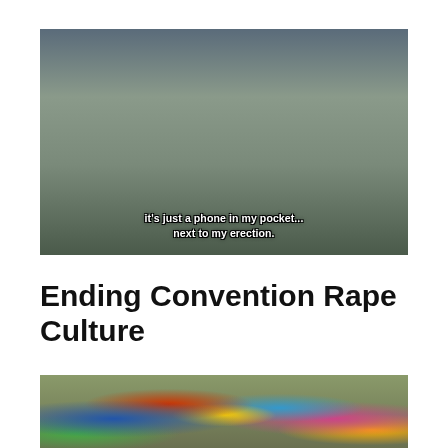[Figure (photo): Photo of two people in cosplay at a convention. A woman wearing a Loki-style horned helmet and white fur stole stands next to a man in a gray t-shirt waving. Subtitle text overlaid on the image reads: 'it's just a phone in my pocket... next to my erection.']
Ending Convention Rape Culture
[Figure (photo): Photo of a large crowd of people in colorful superhero and comic book cosplay costumes at a convention.]